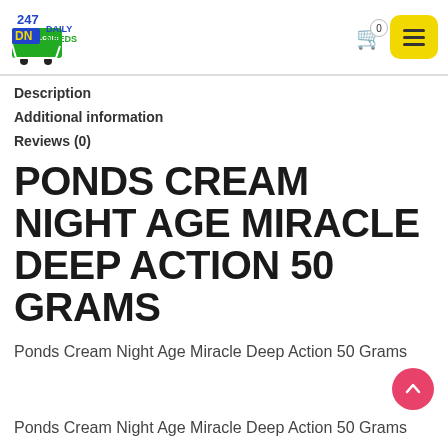247 Daily Needs - DN.com
Description
Additional information
Reviews (0)
PONDS CREAM NIGHT AGE MIRACLE DEEP ACTION 50 GRAMS
Ponds Cream Night Age Miracle Deep Action 50 Grams
Ponds Cream Night Age Miracle Deep Action 50 Grams